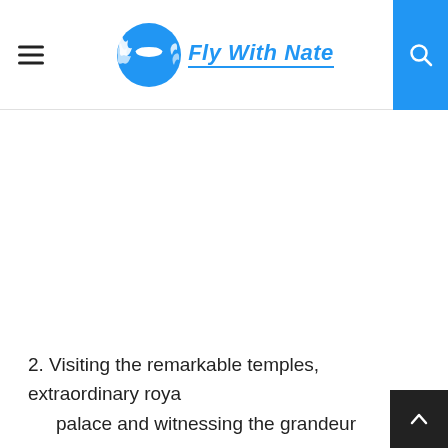Fly With Nate
2. Visiting the remarkable temples, extraordinary royal palace and witnessing the grandeur